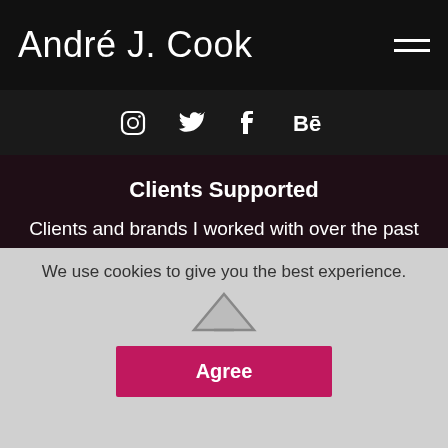André J. Cook
[Figure (other): Hamburger menu icon (three horizontal lines)]
[Figure (other): Social media icons: Instagram, Twitter, Facebook, Behance]
Clients Supported
Clients and brands I worked with over the past 20 years, as an employee and design consultant.
Interactive / Experience design   100%
Presentation and Infographic   100%
3D and Motion   100%
We use cookies to give you the best experience.
Agree